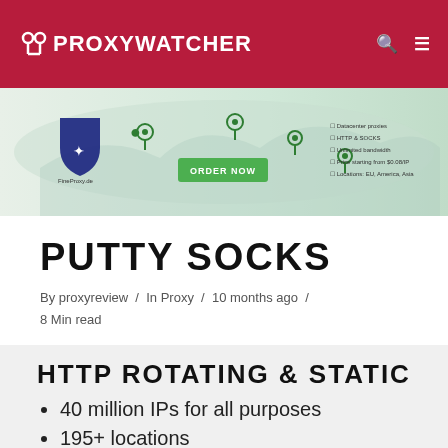PROXYWATCHER
[Figure (illustration): FineProxy.de advertisement banner showing a world map with location pins, a shield logo, an ORDER NOW button, and a list of features: Datacenter proxies, HTTP & SOCKS, Unlimited bandwidth, Price starting from $0.08/IP, Locations: EU, America, Asia]
PUTTY SOCKS
By proxyreview / In Proxy / 10 months ago / 8 Min read
HTTP ROTATING & STATIC
40 million IPs for all purposes
195+ locations